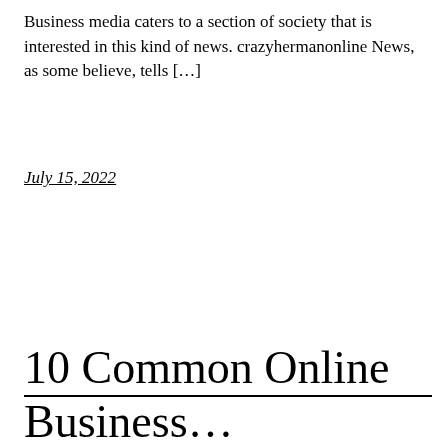Business media caters to a section of society that is interested in this kind of news. crazyhermanonline News, as some believe, tells […]
July 15, 2022
10 Common Online Business…